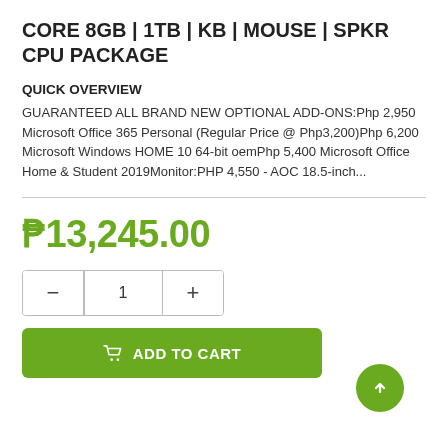CORE 8GB | 1TB | KB | MOUSE | SPKR CPU PACKAGE
QUICK OVERVIEW
GUARANTEED ALL BRAND NEW OPTIONAL ADD-ONS:Php 2,950 Microsoft Office 365 Personal (Regular Price @ Php3,200)Php 6,200 Microsoft Windows HOME 10 64-bit oemPhp 5,400 Microsoft Office Home & Student 2019Monitor:PHP 4,550 - AOC 18.5-inch...
₱13,245.00
ADD TO CART